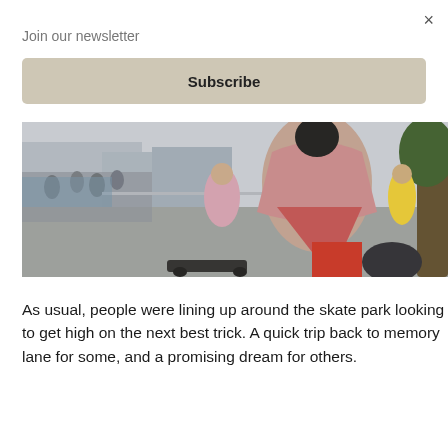×
Join our newsletter
Subscribe
[Figure (photo): Outdoor skate park scene with people gathered around, a skateboarder mid-trick in center, urban plaza background with trees and city buildings visible]
As usual, people were lining up around the skate park looking to get high on the next best trick. A quick trip back to memory lane for some, and a promising dream for others.